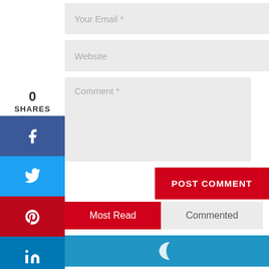[Figure (screenshot): Social sharing sidebar with 0 shares, Facebook, Twitter, Pinterest, LinkedIn, Email, and Print buttons]
Your Email *
Website
Comment *
POST COMMENT
Most Read
Commented